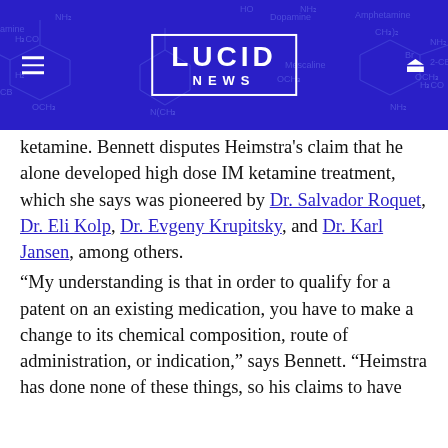[Figure (logo): Lucid News logo on blue banner with chemical structure background, hamburger menu icon on left, search icon on right]
ketamine. Bennett disputes Heimstra's claim that he alone developed high dose IM ketamine treatment, which she says was pioneered by Dr. Salvador Roquet, Dr. Eli Kolp, Dr. Evgeny Krupitsky, and Dr. Karl Jansen, among others.
“My understanding is that in order to qualify for a patent on an existing medication, you have to make a change to its chemical composition, route of administration, or indication,” says Bennett. “Heimstra has done none of these things, so his claims to have